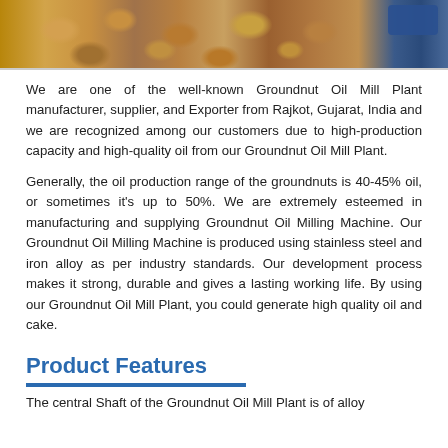[Figure (photo): Close-up photo of peanuts/groundnuts in shells, with a blue object partially visible in the top right corner.]
We are one of the well-known Groundnut Oil Mill Plant manufacturer, supplier, and Exporter from Rajkot, Gujarat, India and we are recognized among our customers due to high-production capacity and high-quality oil from our Groundnut Oil Mill Plant.
Generally, the oil production range of the groundnuts is 40-45% oil, or sometimes it's up to 50%. We are extremely esteemed in manufacturing and supplying Groundnut Oil Milling Machine. Our Groundnut Oil Milling Machine is produced using stainless steel and iron alloy as per industry standards. Our development process makes it strong, durable and gives a lasting working life. By using our Groundnut Oil Mill Plant, you could generate high quality oil and cake.
Product Features
The central Shaft of the Groundnut Oil Mill Plant is of alloy